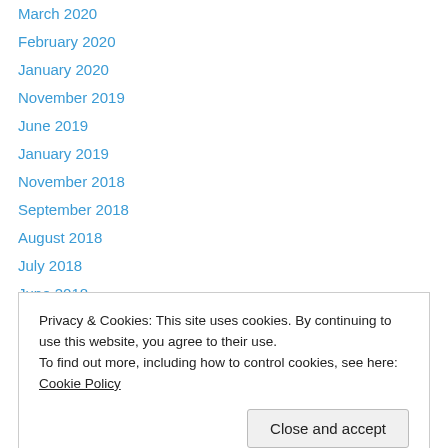March 2020
February 2020
January 2020
November 2019
June 2019
January 2019
November 2018
September 2018
August 2018
July 2018
June 2018
May 2018
January 2018
Privacy & Cookies: This site uses cookies. By continuing to use this website, you agree to their use.
To find out more, including how to control cookies, see here: Cookie Policy
February 2017